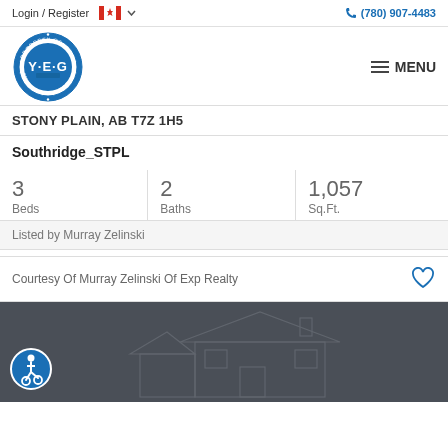Login / Register  (780) 907-4483
[Figure (logo): Property of YEG Jamelle Alexander circular blue logo badge]
STONY PLAIN, AB T7Z 1H5
Southridge_STPL
| Beds | Baths | Sq.Ft. |
| --- | --- | --- |
| 3 | 2 | 1,057 |
Listed by Murray Zelinski
Courtesy Of Murray Zelinski Of Exp Realty
[Figure (photo): Dark grey background with faint house outline silhouette and accessibility icon badge]